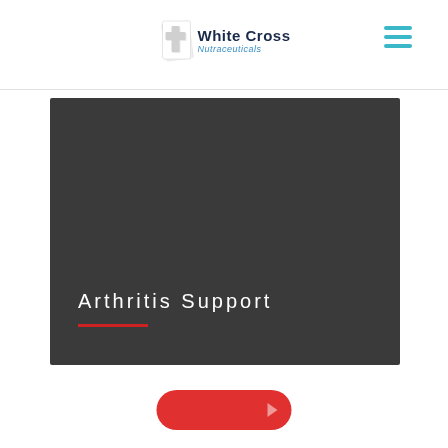White Cross Nutraceuticals
[Figure (illustration): Dark gray hero banner with 'Arthritis Support' heading in white with red underline accent]
Arthritis Support
[Figure (other): Red rounded pill-shaped button with arrow indicator]